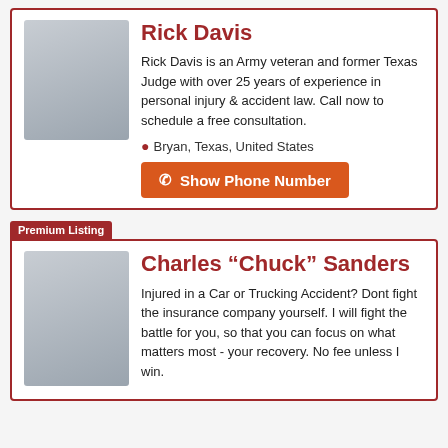Rick Davis
Rick Davis is an Army veteran and former Texas Judge with over 25 years of experience in personal injury & accident law. Call now to schedule a free consultation.
Bryan, Texas, United States
Show Phone Number
Premium Listing
Charles “Chuck” Sanders
Injured in a Car or Trucking Accident? Dont fight the insurance company yourself. I will fight the battle for you, so that you can focus on what matters most - your recovery. No fee unless I win.